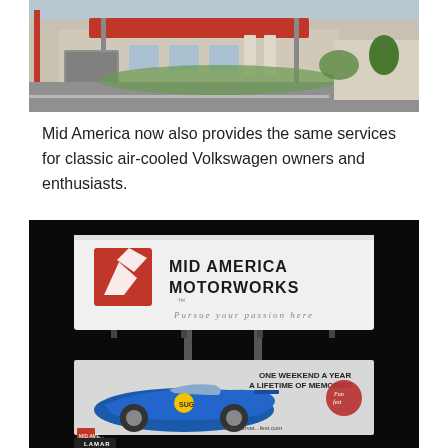[Figure (photo): Exterior photo of Mid America Motorworks building with gas pumps and red canopy, parking lot with green lawn]
Mid America now also provides the same services for classic air-cooled Volkswagen owners and enthusiasts.
[Figure (photo): Night photo of two billboards: top billboard shows Mid America Motorworks logo with tagline 'Pursue your passion here'; bottom billboard shows a blue Corvette with text 'ONE WEEKEND A YEAR A LIFETIME OF MEMORIES' and Funfest branding, www.corvette...fest.com]